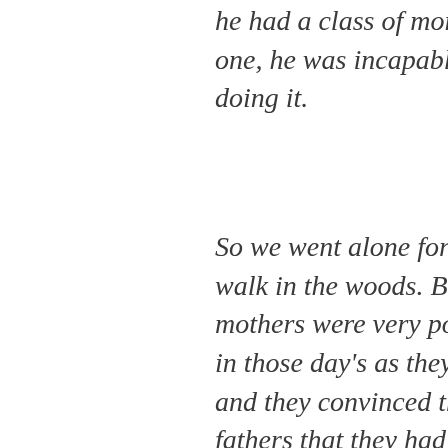he had a class of more than one, he was incapable of doing it.
So we went alone for our walk in the woods. But mothers were very powerful in those day's as they are now, and they convinced the other fathers that they had to take their own sons out for walks in the woods. So all fathers took all sons out for walks in the woods one